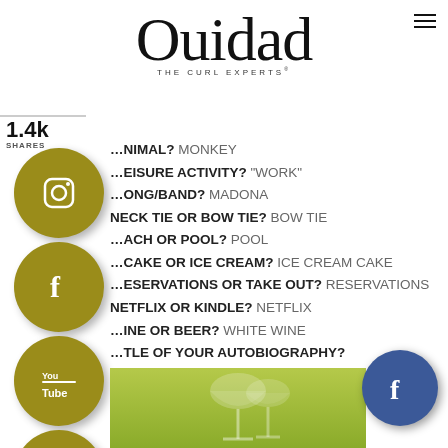[Figure (logo): Ouidad - The Curl Experts logo, serif wordmark]
1.4k SHARES
[Figure (infographic): Social media share buttons column: Instagram, Facebook, YouTube, Pinterest, WhatsApp, More (olive/gold circular icons)]
ANIMAL? MONKEY
LEISURE ACTIVITY? "WORK"
SONG/BAND? MADONA
NECK TIE OR BOW TIE? BOW TIE
BEACH OR POOL? POOL
CAKE OR ICE CREAM? ICE CREAM CAKE
RESERVATIONS OR TAKE OUT? RESERVATIONS
NETFLIX OR KINDLE? NETFLIX
WINE OR BEER? WHITE WINE
TITLE OF YOUR AUTOBIOGRAPHY?
[Figure (photo): Green background with wine glasses, bottom image strip]
[Figure (logo): Facebook floating circular button, blue]